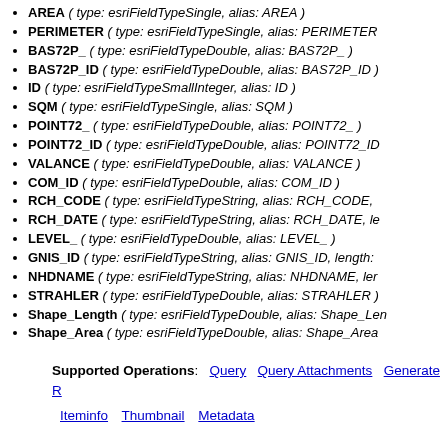AREA ( type: esriFieldTypeSingle, alias: AREA )
PERIMETER ( type: esriFieldTypeSingle, alias: PERIMETER
BAS72P_ ( type: esriFieldTypeDouble, alias: BAS72P_ )
BAS72P_ID ( type: esriFieldTypeDouble, alias: BAS72P_ID )
ID ( type: esriFieldTypeSmallInteger, alias: ID )
SQM ( type: esriFieldTypeSingle, alias: SQM )
POINT72_ ( type: esriFieldTypeDouble, alias: POINT72_ )
POINT72_ID ( type: esriFieldTypeDouble, alias: POINT72_ID
VALANCE ( type: esriFieldTypeDouble, alias: VALANCE )
COM_ID ( type: esriFieldTypeDouble, alias: COM_ID )
RCH_CODE ( type: esriFieldTypeString, alias: RCH_CODE,
RCH_DATE ( type: esriFieldTypeString, alias: RCH_DATE, le
LEVEL_ ( type: esriFieldTypeDouble, alias: LEVEL_ )
GNIS_ID ( type: esriFieldTypeString, alias: GNIS_ID, length:
NHDNAME ( type: esriFieldTypeString, alias: NHDNAME, ler
STRAHLER ( type: esriFieldTypeDouble, alias: STRAHLER )
Shape_Length ( type: esriFieldTypeDouble, alias: Shape_Len
Shape_Area ( type: esriFieldTypeDouble, alias: Shape_Area
Supported Operations: Query  Query Attachments  Generate R
Iteminfo  Thumbnail  Metadata